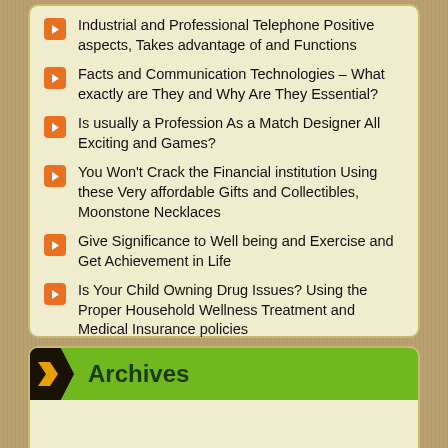Industrial and Professional Telephone Positive aspects, Takes advantage of and Functions
Facts and Communication Technologies – What exactly are They and Why Are They Essential?
Is usually a Profession As a Match Designer All Exciting and Games?
You Won't Crack the Financial institution Using these Very affordable Gifts and Collectibles, Moonstone Necklaces
Give Significance to Well being and Exercise and Get Achievement in Life
Is Your Child Owning Drug Issues? Using the Proper Household Wellness Treatment and Medical Insurance policies
Archives